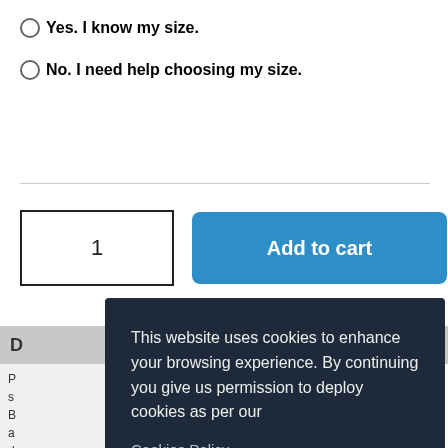Yes. I know my size.
No. I need help choosing my size.
[Figure (screenshot): Quantity input box showing '1' and a blue 'Add to cart' button]
D
P s B a d e a
This website uses cookies to enhance your browsing experience. By continuing you give us permission to deploy cookies as per our Cookies Policy
Excellent. I accept.